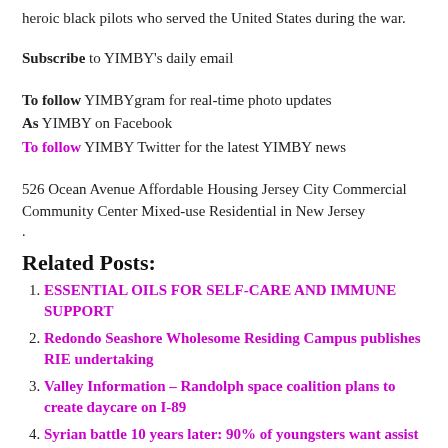heroic black pilots who served the United States during the war.
Subscribe to YIMBY's daily email
To follow YIMBYgram for real-time photo updates
As YIMBY on Facebook
To follow YIMBY Twitter for the latest YIMBY news
526 Ocean Avenue Affordable Housing Jersey City Commercial Community Center Mixed-use Residential in New Jersey
.
Related Posts:
ESSENTIAL OILS FOR SELF-CARE AND IMMUNE SUPPORT
Redondo Seashore Wholesome Residing Campus publishes RIE undertaking
Valley Information – Randolph space coalition plans to create daycare on I-89
Syrian battle 10 years later: 90% of youngsters want assist as violence, financial disaster and COVID-19 pandemic push households